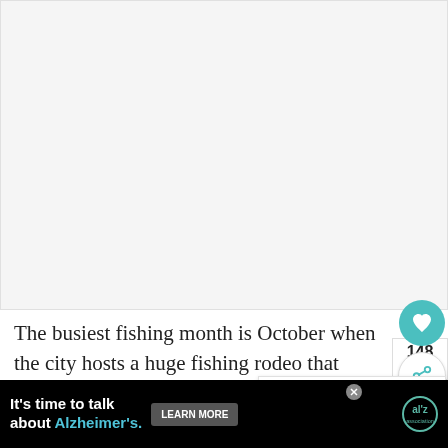[Figure (other): Large empty/white content area at top of page, likely an image placeholder or video embed area]
The busiest fishing month is October when the city hosts a huge fishing rodeo that draws anglers from all over the world.
[Figure (other): Social action buttons: heart/save button (teal circle) and share button (white circle with share icon)]
[Figure (other): WHAT'S NEXT panel showing 'The Emerald Coast- One ...' with a thumbnail image]
[Figure (other): Advertisement banner: 'It's time to talk about Alzheimer's.' with LEARN MORE button and Alzheimer's Association logo]